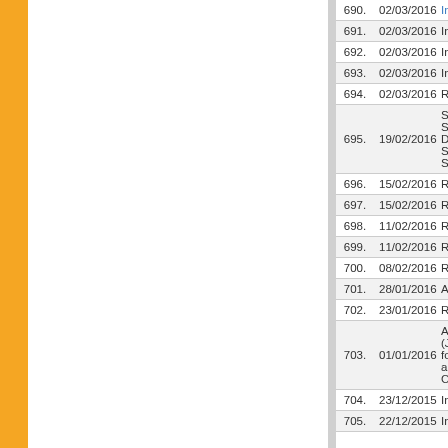| No. | Date | Description |
| --- | --- | --- |
| 690. | 02/03/2016 | Invitation lett... |
| 691. | 02/03/2016 | Invitation lett... |
| 692. | 02/03/2016 | Inviataion lett... |
| 693. | 02/03/2016 | Inviataion lett... |
| 694. | 02/03/2016 | Request for d... |
| 695. | 19/02/2016 | Scientific Sy... Dr. Shanti Sw... |
| 696. | 15/02/2016 | Request for p... |
| 697. | 15/02/2016 | Request for p... |
| 698. | 11/02/2016 | Request for d... |
| 699. | 11/02/2016 | Request for d... |
| 700. | 08/02/2016 | Request for d... |
| 701. | 28/01/2016 | Advertiseme... |
| 702. | 23/01/2016 | Request for d... |
| 703. | 01/01/2016 | Applications... (JRF) for a C... |
| 704. | 23/12/2015 | Invitation of Q... |
| 705. | 22/12/2015 | Invitation of Q... |